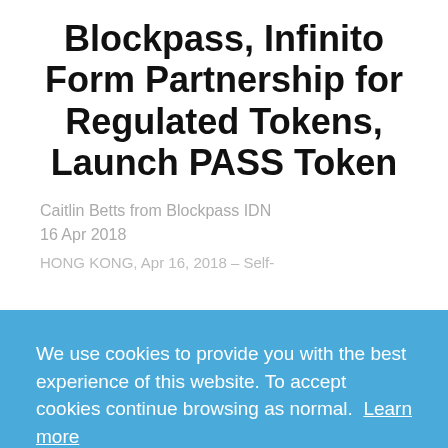Blockpass, Infinito Form Partnership for Regulated Tokens, Launch PASS Token
Caitlin Betts from Blockpass IDN
16 Apr 2018
HONG KONG, Apr 16, 2018 – Self-
We use cookies to provide you with the best experience of this website. To accept cookies continue browsing as normal.  Learn more
Got it!
via the Infinito Wallet platform and